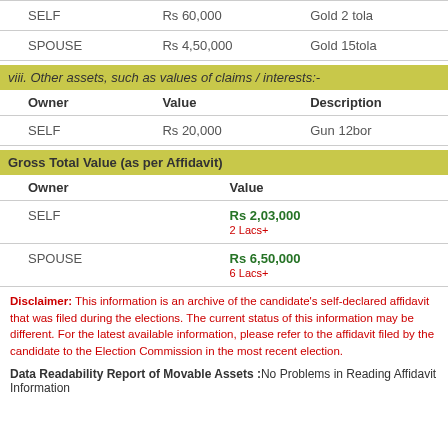| SELF | Rs 60,000 | Gold 2 tola |
| SPOUSE | Rs 4,50,000 | Gold 15tola |
viii. Other assets, such as values of claims / interests:-
| Owner | Value | Description |
| --- | --- | --- |
| SELF | Rs 20,000 | Gun 12bor |
Gross Total Value (as per Affidavit)
| Owner | Value |
| --- | --- |
| SELF | Rs 2,03,000
2 Lacs+ |
| SPOUSE | Rs 6,50,000
6 Lacs+ |
Disclaimer: This information is an archive of the candidate's self-declared affidavit that was filed during the elections. The current status of this information may be different. For the latest available information, please refer to the affidavit filed by the candidate to the Election Commission in the most recent election.
Data Readability Report of Movable Assets :No Problems in Reading Affidavit Information